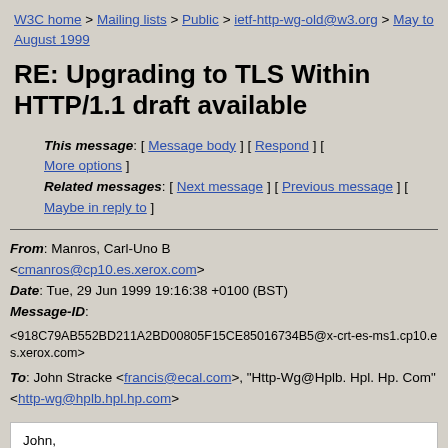W3C home > Mailing lists > Public > ietf-http-wg-old@w3.org > May to August 1999
RE: Upgrading to TLS Within HTTP/1.1 draft available
This message: [ Message body ] [ Respond ] [ More options ]
Related messages: [ Next message ] [ Previous message ] [ Maybe in reply to ]
From: Manros, Carl-Uno B <cmanros@cp10.es.xerox.com>
Date: Tue, 29 Jun 1999 19:16:38 +0100 (BST)
Message-ID:
<918C79AB552BD211A2BD00805F15CE85016734B5@x-crt-es-ms1.cp10.es.xerox.com>
To: John Stracke <francis@ecal.com>, "Http-Wg@Hplb. Hpl. Hp. Com" <http-wg@hplb.hpl.hp.com>
John,